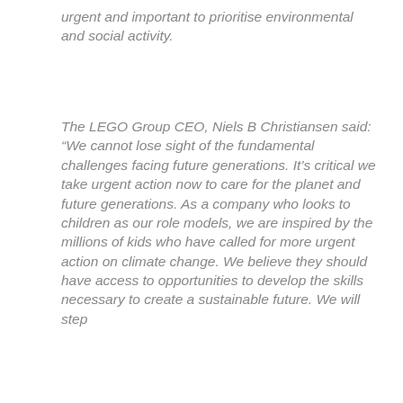urgent and important to prioritise environmental and social activity.
The LEGO Group CEO, Niels B Christiansen said: “We cannot lose sight of the fundamental challenges facing future generations. It’s critical we take urgent action now to care for the planet and future generations. As a company who looks to children as our role models, we are inspired by the millions of kids who have called for more urgent action on climate change. We believe they should have access to opportunities to develop the skills necessary to create a sustainable future. We will step